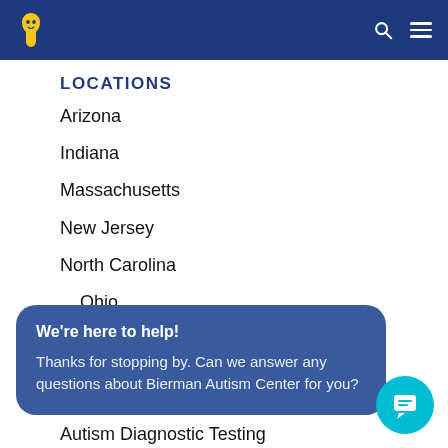Navigation bar with Bierman logo, search icon, and menu icon
LOCATIONS
Arizona
Indiana
Massachusetts
New Jersey
North Carolina
Ohio
Rhode Island
[Figure (screenshot): Chat popup overlay with text: We're here to help! Thanks for stopping by. Can we answer any questions about Bierman Autism Center for you?]
SERVICES
ABA Services
Autism Diagnostic Testing
Speech Therapy